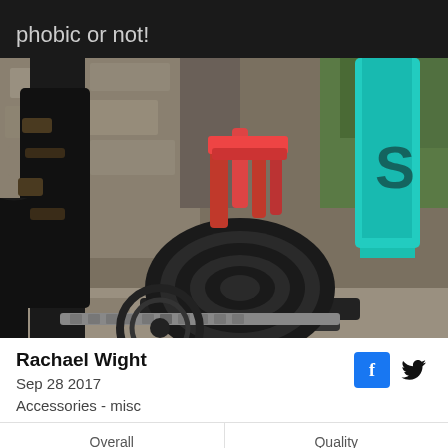phobic or not!
[Figure (photo): Close-up photo of a bicycle frame showing a coiled black cable lock with red accents attached to the frame with a velcro strap. The frame is black on the left and teal/turquoise on the right. A chain and chainring are visible at the bottom.]
Rachael Wight
Sep 28 2017
Accessories - misc